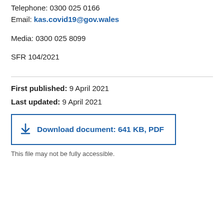Telephone: 0300 025 0166
Email: kas.covid19@gov.wales
Media: 0300 025 8099
SFR 104/2021
First published: 9 April 2021
Last updated: 9 April 2021
Download document: 641 KB, PDF
This file may not be fully accessible.